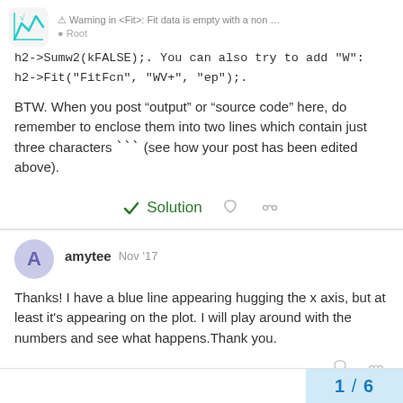Warning in <Fit>: Fit data is empty with a non... | Root
h2->Sumw2(kFALSE);. You can also try to add "W": h2->Fit("FitFcn", "WV+", "ep");.
BTW. When you post “output” or “source code” here, do remember to enclose them into two lines which contain just three characters ``` (see how your post has been edited above).
Solution
amytee  Nov '17
Thanks! I have a blue line appearing hugging the x axis, but at least it's appearing on the plot. I will play around with the numbers and see what happens.Thank you.
1 / 6